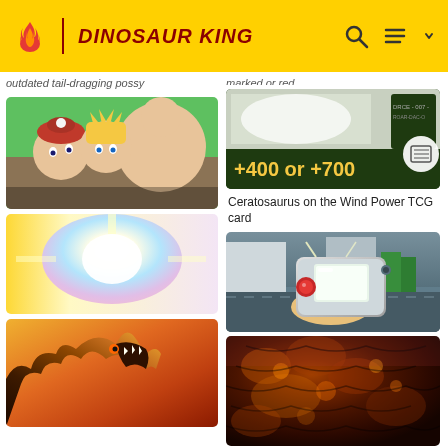DINOSAUR KING
outdated tail-dragging possy
[Figure (screenshot): Anime scene showing characters peering - boy with red hat and blonde character]
[Figure (screenshot): Colorful flash/explosion scene with pastel colors - yellow, white, blue, purple]
[Figure (screenshot): Dark dinosaur with open mouth against colorful background]
marked or red.
[Figure (screenshot): Ceratosaurus TCG card showing +400 or +700 power boost on Wind Power card]
Ceratosaurus on the Wind Power TCG card
[Figure (screenshot): Anime hand holding game device/scanner with red button in city setting]
[Figure (screenshot): Close-up of dark dinosaur scales/texture with orange/gold tones]